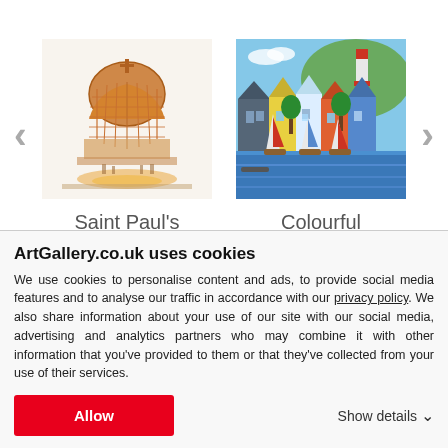[Figure (photo): Painting of Saint Paul's Dome in London, showing the dome with scaffolding in warm orange and gold tones]
[Figure (photo): Colourful painting of Cornwall harbour with sailboats, colourful houses, and a lighthouse in bright vivid colours]
Saint Paul's Dome - London
Colourful Cornwall
ArtGallery.co.uk uses cookies
We use cookies to personalise content and ads, to provide social media features and to analyse our traffic in accordance with our privacy policy. We also share information about your use of our site with our social media, advertising and analytics partners who may combine it with other information that you've provided to them or that they've collected from your use of their services.